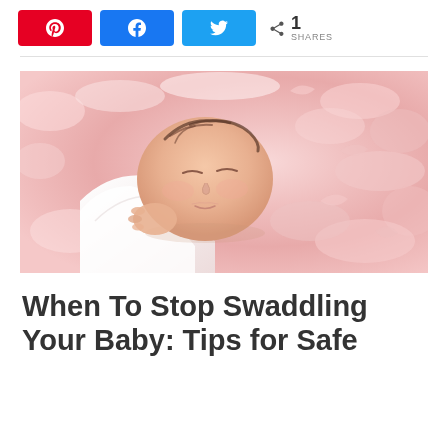[Figure (other): Social share buttons: Pinterest (red), Facebook (dark blue), Twitter (light blue), and a share count showing 1 SHARES]
[Figure (photo): A newborn baby swaddled in white cloth, sleeping on a pink fluffy fur rug, photographed from above at an angle]
When To Stop Swaddling Your Baby: Tips for Safe